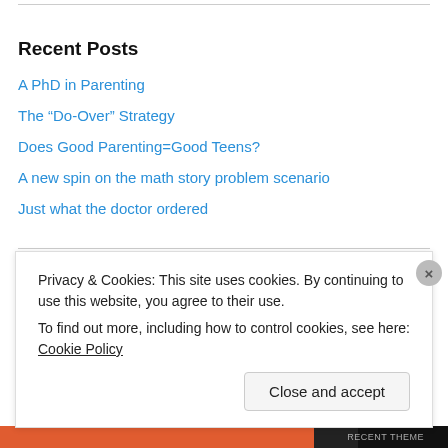Recent Posts
A PhD in Parenting
The “Do-Over” Strategy
Does Good Parenting=Good Teens?
A new spin on the math story problem scenario
Just what the doctor ordered
Recent Comments
Privacy & Cookies: This site uses cookies. By continuing to use this website, you agree to their use.
To find out more, including how to control cookies, see here: Cookie Policy
Close and accept